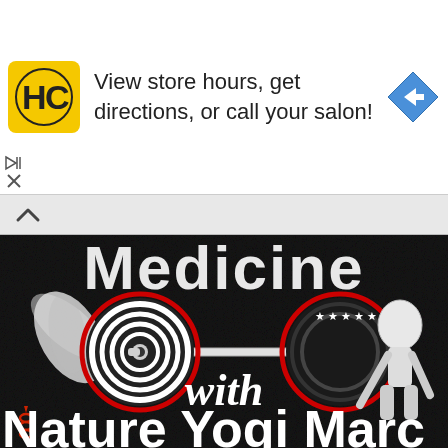[Figure (screenshot): Advertisement banner: yellow HC logo icon, text 'View store hours, get directions, or call your salon!', blue diamond navigation arrow icon on right]
[Figure (illustration): Dark background fitness/weightlifting graphic with stylized barbell with decorative plates, figure lifting barbell, stars motif, red outline accents. Partially visible text 'Medicine' at top, 'with' in middle, 'Nature Yogi Mar...' at bottom. Red chain icon bottom left.]